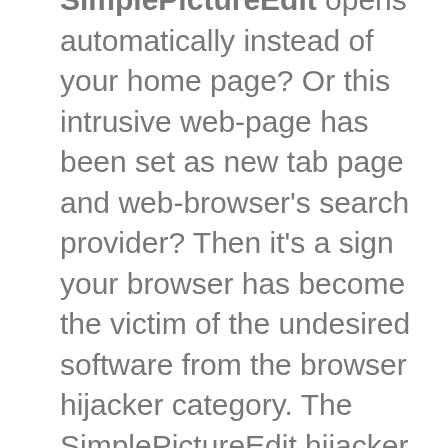SimplePictureEdit opens automatically instead of your home page? Or this intrusive web-page has been set as new tab page and web-browser's search provider? Then it's a sign your browser has become the victim of the undesired software from the browser hijacker category. The SimplePictureEdit hijacker mostly get installed along with some free software. Do not be surprised, it happens, especially if you're an active Net user. But this does not mean that you should reconcile with the unwanted SimplePictureEdit home page. You need to clean your machine of malware such as this hijacker ASAP. Because the undesired home page may be a way to infect your computer with more malicious applications such as viruses and trojans.